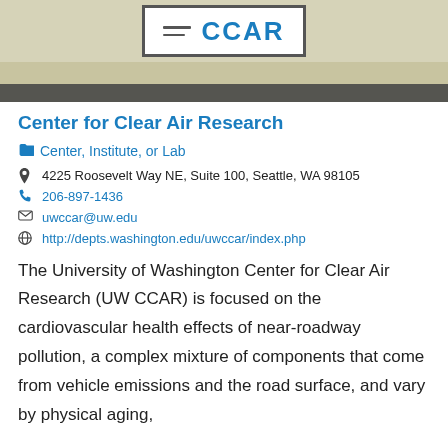[Figure (logo): CCAR logo with two horizontal lines and blue CCAR text in a bordered box on a tan background]
Center for Clear Air Research
Center, Institute, or Lab
4225 Roosevelt Way NE, Suite 100, Seattle, WA 98105
206-897-1436
uwccar@uw.edu
http://depts.washington.edu/uwccar/index.php
The University of Washington Center for Clear Air Research (UW CCAR) is focused on the cardiovascular health effects of near-roadway pollution, a complex mixture of components that come from vehicle emissions and the road surface, and vary by physical aging,